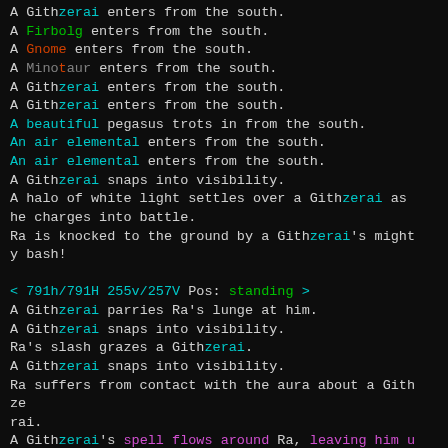A Githzerai enters from the south.
A Firbolg enters from the south.
A Gnome enters from the south.
A Minotaur enters from the south.
A Githzerai enters from the south.
A Githzerai enters from the south.
A beautiful pegasus trots in from the south.
An air elemental enters from the south.
An air elemental enters from the south.
A Githzerai snaps into visibility.
A halo of white light settles over a Githzerai as he charges into battle.
Ra is knocked to the ground by a Githzerai's mighty bash!
< 791h/791H 255v/257V Pos: standing >
A Githzerai parries Ra's lunge at him.
A Githzerai snaps into visibility.
Ra's slash grazes a Githzerai.
A Githzerai snaps into visibility.
Ra suffers from contact with the aura about a Githzerai.
A Githzerai's spell flows around Ra, leaving him unharmed!
A Githzerai snaps into visibility.